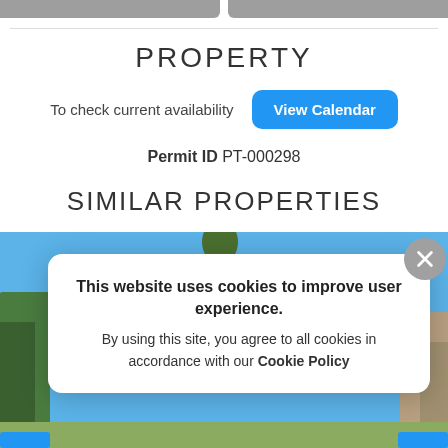PROPERTY
To check current availability  [View Calendar]
Permit ID PT-000298
SIMILAR PROPERTIES
[Figure (photo): Property photo partially visible behind cookie consent popup; blue sky background with trees and buildings visible at edges]
This website uses cookies to improve user experience. By using this site, you agree to all cookies in accordance with our Cookie Policy